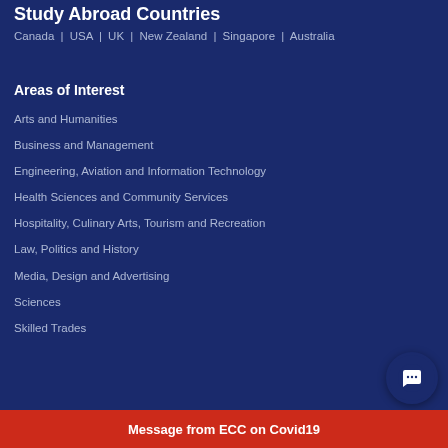Study Abroad Countries
Canada | USA | UK | New Zealand | Singapore | Australia
Areas of Interest
Arts and Humanities
Business and Management
Engineering, Aviation and Information Technology
Health Sciences and Community Services
Hospitality, Culinary Arts, Tourism and Recreation
Law, Politics and History
Media, Design and Advertising
Sciences
Skilled Trades
Message from ECC on Covid19